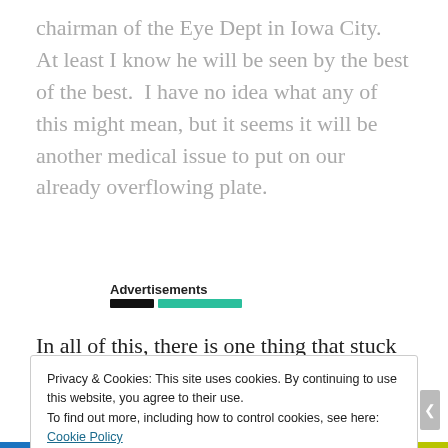chairman of the Eye Dept in Iowa City.  At least I know he will be seen by the best of the best.  I have no idea what any of this might mean, but it seems it will be another medical issue to put on our already overflowing plate.
Advertisements
In all of this, there is one thing that stuck with me from another heart mom’s blog.  It is essentially this: He’s still Kiran.  No matter the diagnosis, no matter the issues at
Privacy & Cookies: This site uses cookies. By continuing to use this website, you agree to their use.
To find out more, including how to control cookies, see here: Cookie Policy
Close and accept